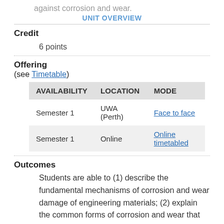against corrosion and wear.
UNIT OVERVIEW
Credit
6 points
Offering (see Timetable)
| AVAILABILITY | LOCATION | MODE |
| --- | --- | --- |
| Semester 1 | UWA (Perth) | Face to face |
| Semester 1 | Online | Online timetabled |
Outcomes
Students are able to (1) describe the fundamental mechanisms of corrosion and wear damage of engineering materials; (2) explain the common forms of corrosion and wear that occur in various